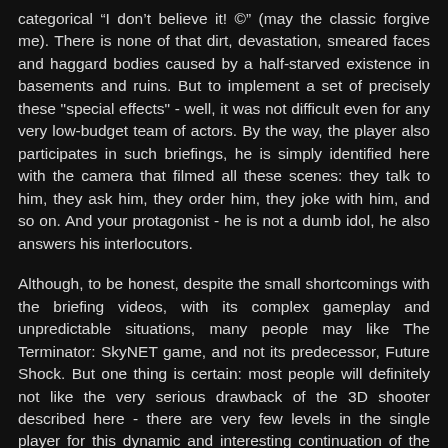categorical “I don’t believe it! ©” (may the classic forgive me). There is none of that dirt, devastation, smeared faces and haggard bodies caused by a half-starved existence in basements and ruins. But to implement a set of precisely these "special effects" - well, it was not difficult even for any very low-budget team of actors. By the way, the player also participates in such briefings, he is simply identified here with the camera that filmed all these scenes: they talk to him, they ask him, they order him, they joke with him, and so on. And your protagonist - he is not a dumb idol, he also answers his interlocutors.
Although, to be honest, despite the small shortcomings with the briefing videos, with its complex gameplay and unpredictable situations, many people may like The Terminator: SkyNET game, and not its predecessor, Future Shock. But one thing is certain: most people will definitely not like the very serious drawback of the 3D shooter described here - there are very few levels in the single player for this dynamic and interesting continuation of the The Terminator game series.